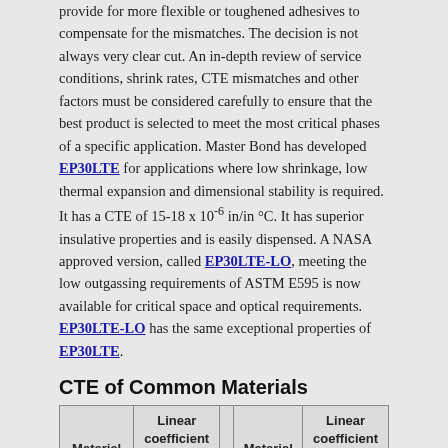provide for more flexible or toughened adhesives to compensate for the mismatches. The decision is not always very clear cut. An in-depth review of service conditions, shrink rates, CTE mismatches and other factors must be considered carefully to ensure that the best product is selected to meet the most critical phases of a specific application. Master Bond has developed EP30LTE for applications where low shrinkage, low thermal expansion and dimensional stability is required. It has a CTE of 15-18 x 10⁻⁶ in/in °C. It has superior insulative properties and is easily dispensed. A NASA approved version, called EP30LTE-LO, meeting the low outgassing requirements of ASTM E595 is now available for critical space and optical requirements. EP30LTE-LO has the same exceptional properties of EP30LTE.
CTE of Common Materials
| Material | Linear coefficient α at 20°C (10⁻⁶ K⁻¹) |  | Material | Linear coefficient at 20°C (10⁻⁶ K⁻¹) |
| --- | --- | --- | --- | --- |
| Aluminum | 23.1 |  | Kapton | 20 |